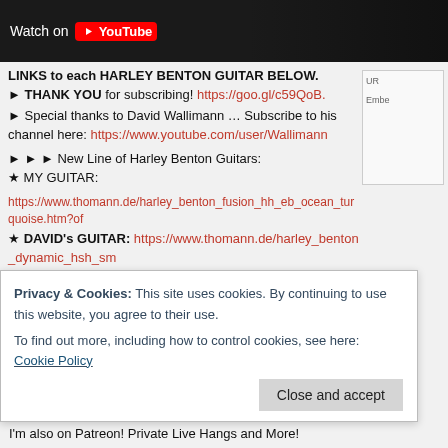[Figure (screenshot): YouTube video thumbnail with dark background and 'Watch on YouTube' button overlay]
LINKS to each HARLEY BENTON GUITAR BELOW.
► THANK YOU for subscribing! https://goo.gl/c59QoB.
► Special thanks to David Wallimann … Subscribe to his channel here: https://www.youtube.com/user/Wallimann
► ► ► New Line of Harley Benton Guitars:
★ MY GUITAR:
https://www.thomann.de/harley_benton_fusion_hh_eb_ocean_turquoise.htm?of
★ DAVID's GUITAR: https://www.thomann.de/harley_benton_dynamic_hsh_sm
Support this Channel with a selection of TTK T-Shirts:
★ **NEW HOODIE** in TTK GOLD & Full Color STAFF back!
https://teespring.com/ttk-gold-hoodie
★ STAFF — https://teespring.com/TTK-STAFF-T...
Privacy & Cookies: This site uses cookies. By continuing to use this website, you agree to their use.
To find out more, including how to control cookies, see here: Cookie Policy
I'm also on Patreon! Private Live Hangs and More!